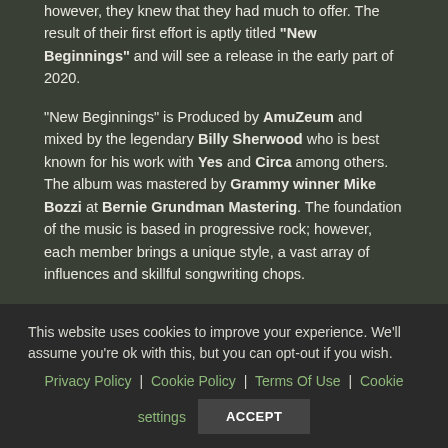however, they knew that they had much to offer. The result of their first effort is aptly titled "New Beginnings" and will see a release in the early part of 2020.
"New Beginnings" is Produced by AmuZeum and mixed by the legendary Billy Sherwood who is best known for his work with Yes and Circa among others. The album was mastered by Grammy winner Mike Bozzi at Bernie Grundman Mastering. The foundation of the music is based in progressive rock; however, each member brings a unique style, a vast array of influences and skillful songwriting chops.
This website uses cookies to improve your experience. We'll assume you're ok with this, but you can opt-out if you wish. Privacy Policy | Cookie Policy | Terms Of Use | Cookie settings ACCEPT